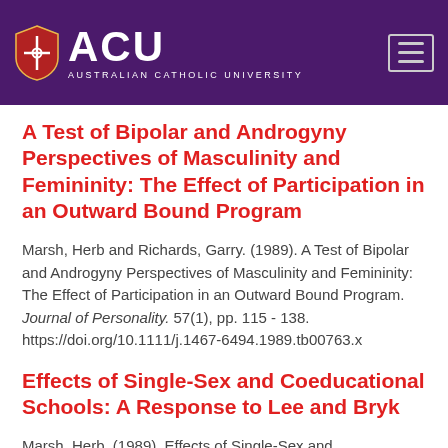[Figure (logo): ACU (Australian Catholic University) logo on purple header background with hamburger menu icon]
A Test of Bipolar and Androgyny Perspectives of Masculinity and Femininity: The Effect of Participation in an Outward Bound Program
Marsh, Herb and Richards, Garry. (1989). A Test of Bipolar and Androgyny Perspectives of Masculinity and Femininity: The Effect of Participation in an Outward Bound Program. Journal of Personality. 57(1), pp. 115 - 138. https://doi.org/10.1111/j.1467-6494.1989.tb00763.x
Effects of Single-Sex and Coeducational Schools: A Response to Lee and Bryk
Marsh, Herb. (1989). Effects of Single-Sex and